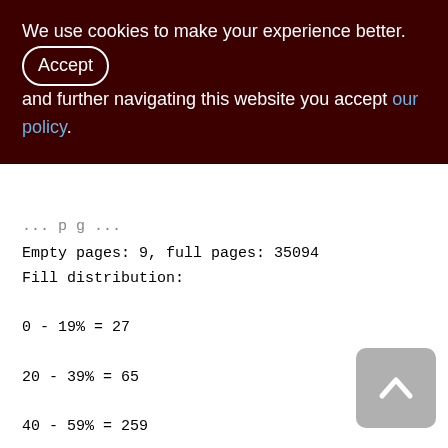We use cookies to make your experience better. By accepting and further navigating this website you accept our policy.
Empty pages: 9, full pages: 35094
Fill distribution:
0 - 19% = 27
20 - 39% = 65
40 - 59% = 259
60 - 79% = 16722
80 - 99% = 19743
Index XQS_1000_3300_DOC_ID (0)
Root page: 76716, depth: 3, leaf buckets: 2543, nodes: 2354238
Average node length: 5.15, total dup: